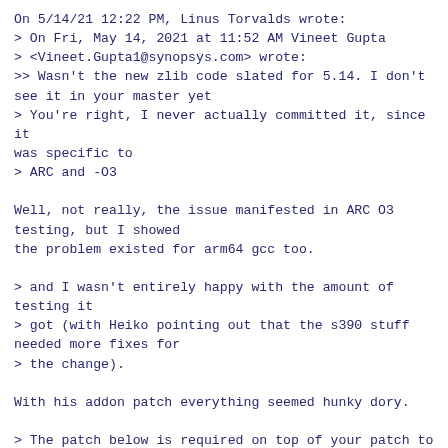On 5/14/21 12:22 PM, Linus Torvalds wrote:
> On Fri, May 14, 2021 at 11:52 AM Vineet Gupta
> <Vineet.Gupta1@synopsys.com> wrote:
>> Wasn't the new zlib code slated for 5.14. I don't
see it in your master yet
> You're right, I never actually committed it, since it
was specific to
> ARC and -O3
Well, not really, the issue manifested in ARC O3
testing, but I showed
the problem existed for arm64 gcc too.
> and I wasn't entirely happy with the amount of
testing it
> got (with Heiko pointing out that the s390 stuff
needed more fixes for
> the change).
With his addon patch everything seemed hunky dory.
> The patch below is required on top of your patch to
make it compile
> for s390 as well.
> Tested with kernel image decompression, and also
btrfs with file
> compression; both software and hardware compression.
> Everything seems to work.
> So in fact it's not even queued up for 5.14 due to